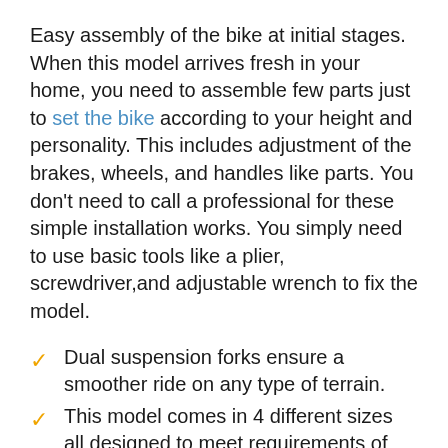Easy assembly of the bike at initial stages. When this model arrives fresh in your home, you need to assemble few parts just to set the bike according to your height and personality. This includes adjustment of the brakes, wheels, and handles like parts. You don't need to call a professional for these simple installation works. You simply need to use basic tools like a plier, screwdriver,and adjustable wrench to fix the model.
Dual suspension forks ensure a smoother ride on any type of terrain.
This model comes in 4 different sizes all designed to meet requirements of most